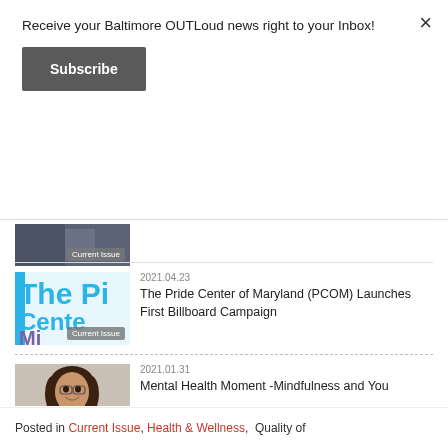Receive your Baltimore OUTLoud news right to your Inbox!
Subscribe
×
[Figure (photo): Partial article thumbnail cut off at top, dark indoor photo with Current Issue label]
2021.04.23
The Pride Center of Maryland (PCOM) Launches First Billboard Campaign
[Figure (photo): The Pride Center of Maryland logo with blue and purple text on light background, Current Issue label]
2021.01.31
Mental Health Moment -Mindfulness and You
[Figure (photo): Photo of smiling woman with curly dark hair, Current Issue label]
2021.01.20
In Memory of Milton Lentz, February 18, 1941 – January 20, 2010 – More than a Decade Today and Still Learning to Cope
[Figure (photo): Photo of man in restaurant or cafe setting, Current Issue label]
Posted in Current Issue, Health & Wellness, Quality of